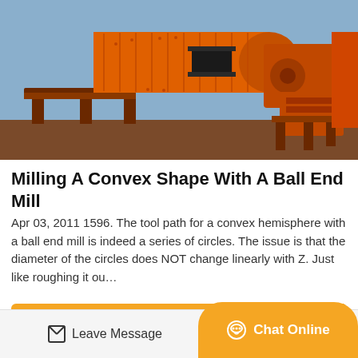[Figure (photo): Large orange industrial ball mill grinding machine in a factory/industrial setting, showing the cylindrical drum, gear mechanism, and motor housing on a red-painted steel frame.]
Milling A Convex Shape With A Ball End Mill
Apr 03, 2011 1596. The tool path for a convex hemisphere with a ball end mill is indeed a series of circles. The issue is that the diameter of the circles does NOT change linearly with Z. Just like roughing it ou…
GET PRICE
Leave Message
Chat Online